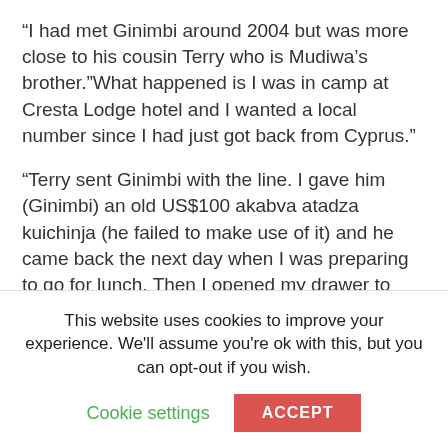“I had met Ginimbi around 2004 but was more close to his cousin Terry who is Mudiwa’s brother.”What happened is I was in camp at Cresta Lodge hotel and I wanted a local number since I had just got back from Cyprus.”
“Terry sent Ginimbi with the line. I gave him (Ginimbi) an old US$100 akabva atadza kuichinja (he failed to make use of it) and he came back the next day when I was preparing to go for lunch. Then I opened my drawer to take my perfume and Ginimbi achibva awona mari (Genius saw my money).
“I had something like $7000 and he was like mdhara
This website uses cookies to improve your experience. We’ll assume you’re ok with this, but you can opt-out if you wish.
Cookie settings
ACCEPT